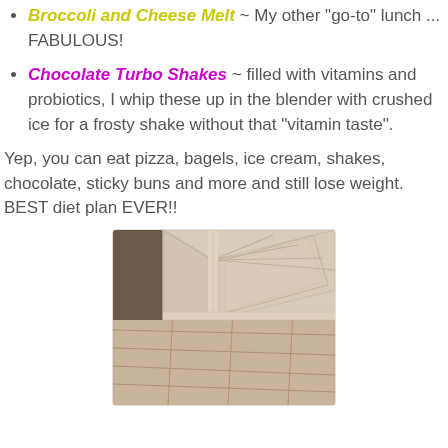Broccoli and Cheese Melt ~ My other "go-to" lunch ... FABULOUS!
Chocolate Turbo Shakes ~ filled with vitamins and probiotics, I whip these up in the blender with crushed ice for a frosty shake without that "vitamin taste".
Yep, you can eat pizza, bagels, ice cream, shakes, chocolate, sticky buns and more and still lose weight. BEST diet plan EVER!!
[Figure (photo): Photo of kitchen cabinet corner with tile floor, viewed from below at an angle showing cream/beige colored cabinet doors and frames with tile floor.]